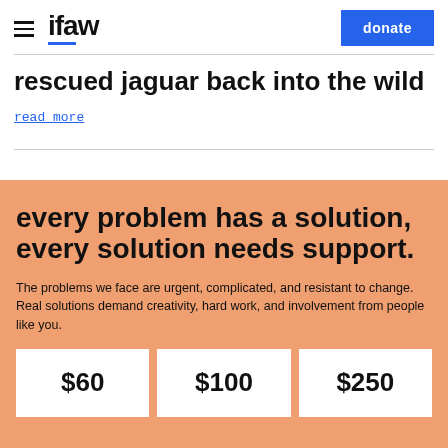ifaw | donate
rescued jaguar back into the wild
read more
every problem has a solution, every solution needs support.
The problems we face are urgent, complicated, and resistant to change. Real solutions demand creativity, hard work, and involvement from people like you.
$60   $100   $250